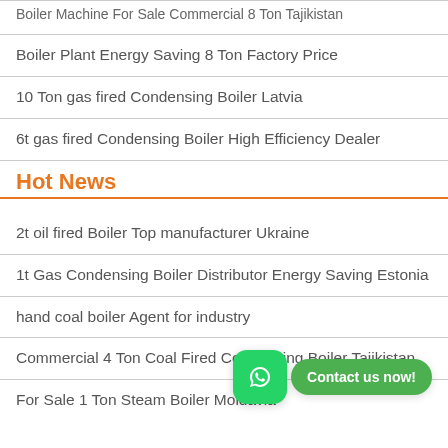Boiler Machine For Sale Commercial 8 Ton Tajikistan
Boiler Plant Energy Saving 8 Ton Factory Price
10 Ton gas fired Condensing Boiler Latvia
6t gas fired Condensing Boiler High Efficiency Dealer
Hot News
2t oil fired Boiler Top manufacturer Ukraine
1t Gas Condensing Boiler Distributor Energy Saving Estonia
hand coal boiler Agent for industry
Commercial 4 Ton Coal Fired Condensing Boiler Tajikistan
For Sale 1 Ton Steam Boiler Moldavia